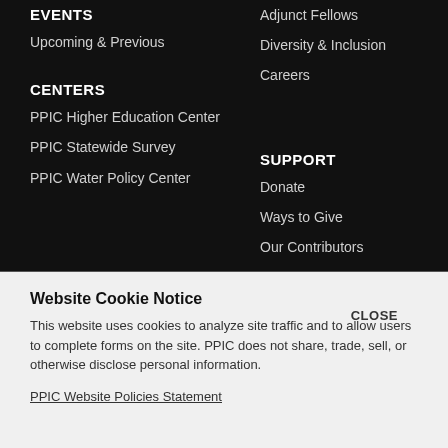EVENTS
Upcoming & Previous
CENTERS
PPIC Higher Education Center
PPIC Statewide Survey
PPIC Water Policy Center
Adjunct Fellows
Diversity & Inclusion
Careers
SUPPORT
Donate
Ways to Give
Our Contributors
Website Cookie Notice
CLOSE
This website uses cookies to analyze site traffic and to allow users to complete forms on the site. PPIC does not share, trade, sell, or otherwise disclose personal information.
PPIC Website Policies Statement